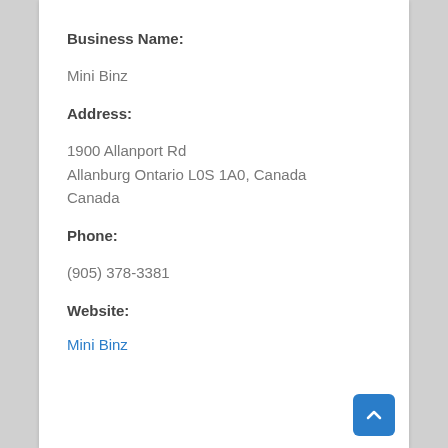Business Name:
Mini Binz
Address:
1900 Allanport Rd
Allanburg Ontario L0S 1A0, Canada
Canada
Phone:
(905) 378-3381
Website:
Mini Binz